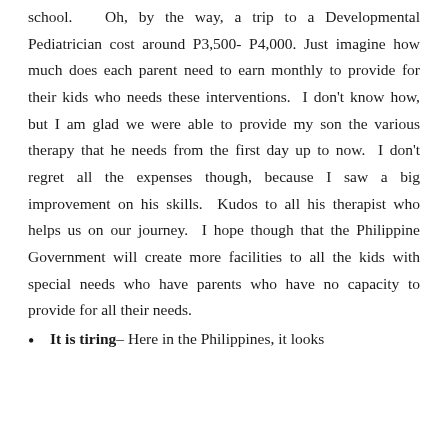school.  Oh, by the way, a trip to a Developmental Pediatrician cost around P3,500- P4,000. Just imagine how much does each parent need to earn monthly to provide for their kids who needs these interventions. I don't know how, but I am glad we were able to provide my son the various therapy that he needs from the first day up to now.  I don't regret all the expenses though, because I saw a big improvement on his skills.  Kudos to all his therapist who helps us on our journey.  I hope though that the Philippine Government will create more facilities to all the kids with special needs who have parents who have no capacity to provide for all their needs.
It is tiring– Here in the Philippines, it looks